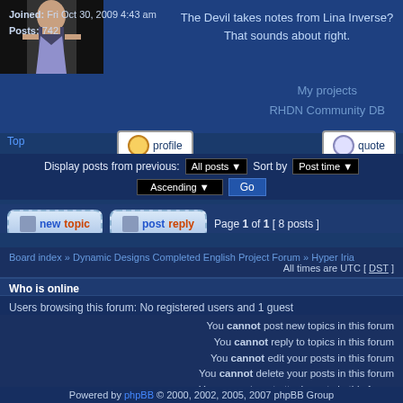[Figure (photo): User avatar image - anime character in dark/light clothing]
The Devil takes notes from Lina Inverse? That sounds about right.
Joined: Fri Oct 30, 2009 4:43 am
Posts: 742
My projects
RHDN Community DB
Top
profile
quote
Display posts from previous: All posts  Sort by  Post time
Ascending  Go
newtopic  postreply  Page 1 of 1 [ 8 posts ]
Board index » Dynamic Designs Completed English Project Forum » Hyper Iria
All times are UTC [ DST ]
Who is online
Users browsing this forum: No registered users and 1 guest
You cannot post new topics in this forum
You cannot reply to topics in this forum
You cannot edit your posts in this forum
You cannot delete your posts in this forum
You cannot post attachments in this forum
Search for:
Jump to: Hyper Iria
Go
Powered by phpBB © 2000, 2002, 2005, 2007 phpBB Group